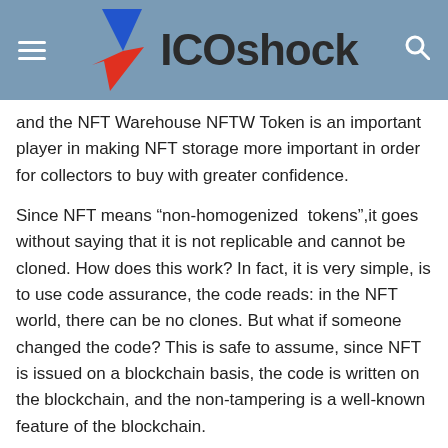ICOshock
and the NFT Warehouse NFTW Token is an important player in making NFT storage more important in order for collectors to buy with greater confidence.
Since NFT means “non-homogenized tokens”,it goes without saying that it is not replicable and cannot be cloned. How does this work? In fact, it is very simple, is to use code assurance, the code reads: in the NFT world, there can be no clones. But what if someone changed the code? This is safe to assume, since NFT is issued on a blockchain basis, the code is written on the blockchain, and the non-tampering is a well-known feature of the blockchain.
Storage issues with NFT